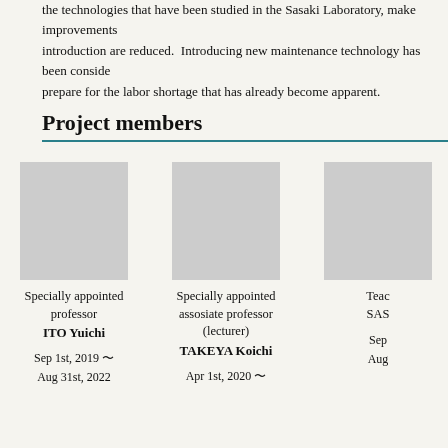the technologies that have been studied in the Sasaki Laboratory, make improvements introduction are reduced. Introducing new maintenance technology has been considered prepare for the labor shortage that has already become apparent.
Project members
[Figure (photo): Photo placeholder for Specially appointed professor ITO Yuichi]
Specially appointed professor
ITO Yuichi

Sep 1st, 2019 〜
Aug 31st, 2022
[Figure (photo): Photo placeholder for Specially appointed assosiate professor (lecturer) TAKEYA Koichi]
Specially appointed assosiate professor (lecturer)
TAKEYA Koichi

Apr 1st, 2020 〜
[Figure (photo): Photo placeholder for Teaching assistant SASAKI ...]
Teaching assistant
SAS...

Sep...
Aug...